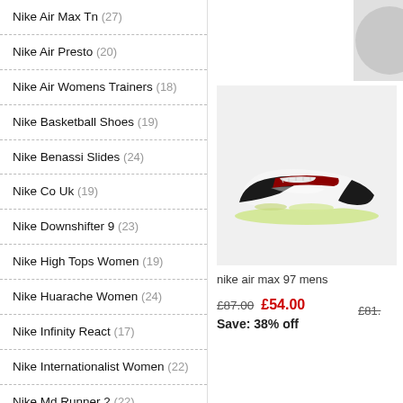Nike Air Max Tn (27)
Nike Air Presto (20)
Nike Air Womens Trainers (18)
Nike Basketball Shoes (19)
Nike Benassi Slides (24)
Nike Co Uk (19)
Nike Downshifter 9 (23)
Nike High Tops Women (19)
Nike Huarache Women (24)
Nike Infinity React (17)
Nike Internationalist Women (22)
Nike Md Runner 2 (22)
Nike Mercurial Vapor (29)
Nike Pegasus Trail (21)
Nike Phantom Venom (27)
[Figure (photo): Nike Air Max 97 mens shoe - black, white and red colorway]
nike air max 97 mens
£87.00  £54.00  Save: 38% off